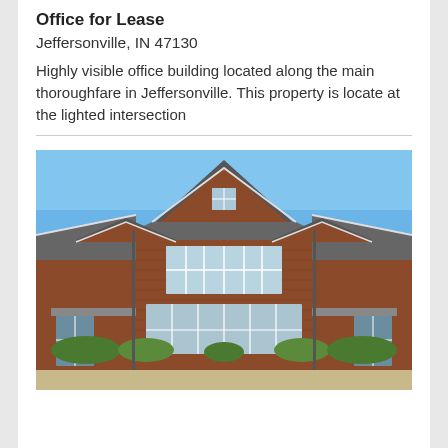Office for Lease
Jeffersonville, IN 47130
Highly visible office building located along the main thoroughfare in Jeffersonville. This property is locate at the lighted intersection
[Figure (photo): Exterior photo of a two-story red brick office building with gabled rooflines, white-trimmed windows, and blue sky background, with shrubs in the foreground.]